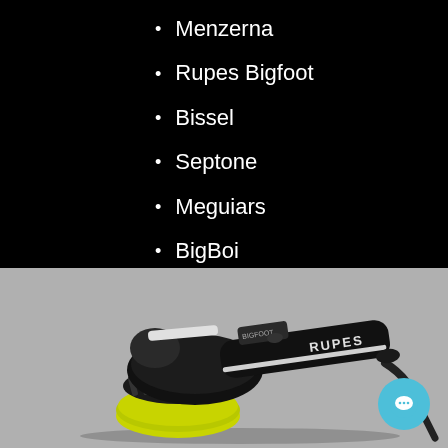Menzerna
Rupes Bigfoot
Bissel
Septone
Meguiars
BigBoi
Turtle Wax
Bowden's Own
[Figure (photo): A black RUPES Bigfoot orbital polisher/buffer with a yellow foam pad, photographed on a grey background. The tool has a long handle with RUPES branding visible on the body.]